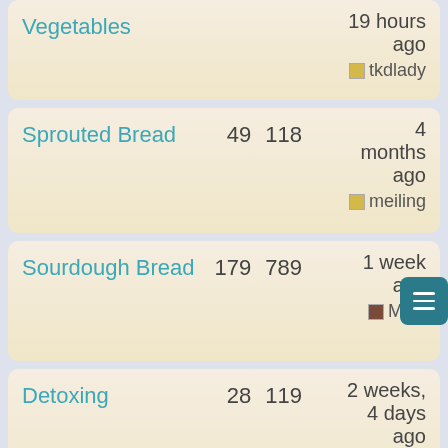Vegetables  19 hours ago  tkdlady
Sprouted Bread  49  118  4 months ago  meiling
Sourdough Bread  179  789  1 week ago  Maci
Detoxing  28  119  2 weeks, 4 days ago
Miscellaneous  179  649  1 day 19...